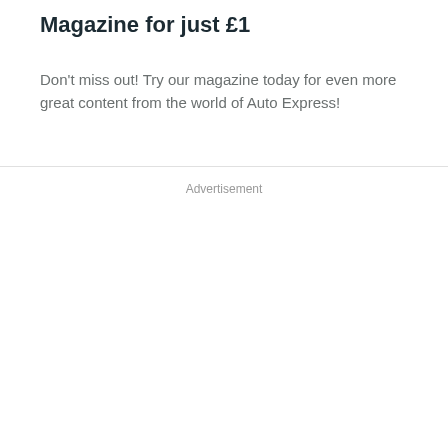Magazine for just £1
Don't miss out! Try our magazine today for even more great content from the world of Auto Express!
Advertisement